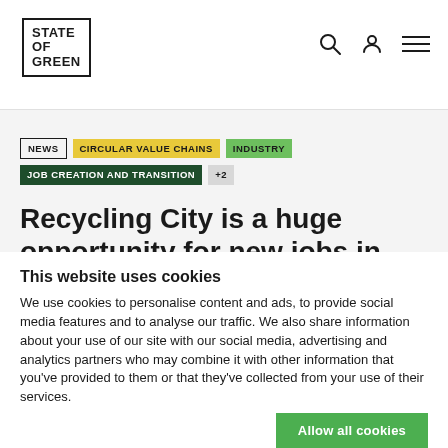STATE OF GREEN — navigation header with logo and icons
NEWS
CIRCULAR VALUE CHAINS
INDUSTRY
JOB CREATION AND TRANSITION
+2
Recycling City is a huge opportunity for new jobs in North Jutland
This website uses cookies
We use cookies to personalise content and ads, to provide social media features and to analyse our traffic. We also share information about your use of our site with our social media, advertising and analytics partners who may combine it with other information that you've provided to them or that they've collected from your use of their services.